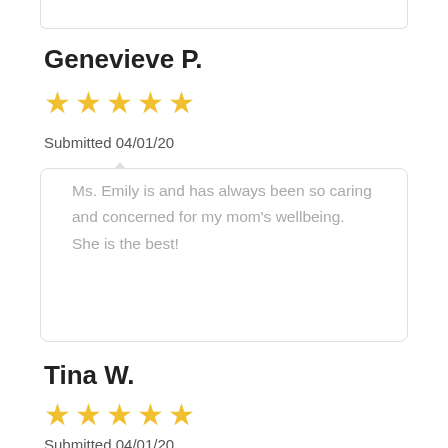Genevieve P.
[Figure (other): 5 yellow star rating icons]
Submitted 04/01/20
Ms. Emily is and has always been so caring and concerned for my mom's wellbeing. She is the best!
Tina W.
[Figure (other): 5 yellow star rating icons]
Submitted 04/01/20